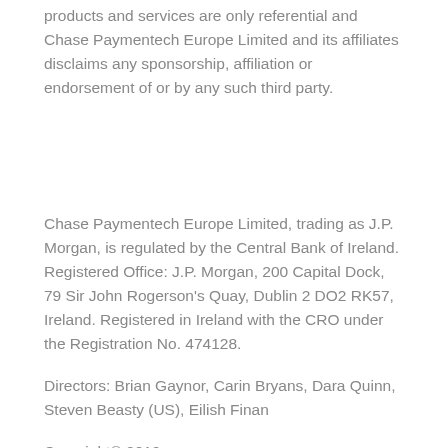products and services are only referential and Chase Paymentech Europe Limited and its affiliates disclaims any sponsorship, affiliation or endorsement of or by any such third party.
Chase Paymentech Europe Limited, trading as J.P. Morgan, is regulated by the Central Bank of Ireland. Registered Office: J.P. Morgan, 200 Capital Dock, 79 Sir John Rogerson's Quay, Dublin 2 DO2 RK57, Ireland. Registered in Ireland with the CRO under the Registration No. 474128.
Directors: Brian Gaynor, Carin Bryans, Dara Quinn, Steven Beasty (US), Eilish Finan
Copyright© 2019